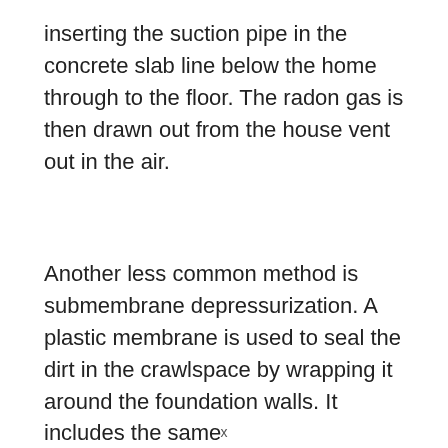inserting the suction pipe in the concrete slab line below the home through to the floor. The radon gas is then drawn out from the house vent out in the air.
Another less common method is submembrane depressurization. A plastic membrane is used to seal the dirt in the crawlspace by wrapping it around the foundation walls. It includes the same